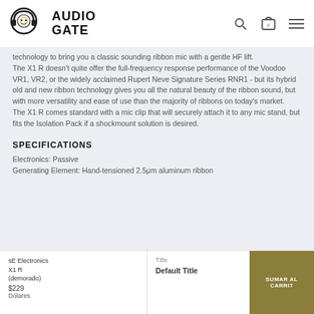Audio Gate — logo and navigation icons
technology to bring you a classic sounding ribbon mic with a gentle HF lift.
The X1 R doesn't quite offer the full-frequency response performance of the Voodoo VR1, VR2, or the widely acclaimed Rupert Neve Signature Series RNR1 - but its hybrid old and new ribbon technology gives you all the natural beauty of the ribbon sound, but with more versatility and ease of use than the majority of ribbons on today's market.
The X1 R comes standard with a mic clip that will securely attach it to any mic stand, but fits the Isolation Pack if a shockmount solution is desired.
SPECIFICATIONS
Electronics: Passive
Generating Element: Hand-tensioned 2.5μm aluminum ribbon
sE Electronics X1 R (demorado) $229 Dólares — Title: Default Title — SUMAR AL CARRIT